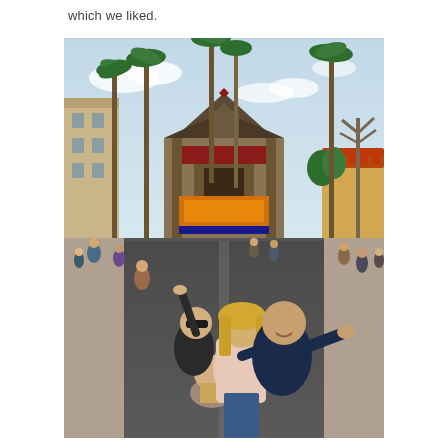which we liked.
[Figure (photo): A family of four posing on the main boulevard of Disney's Hollywood Studios theme park. In the background is the Chinese Theatre replica (the Great Movie Ride / Mickey and Minnie's Runaway Railway theatre) with its distinctive pagoda roof and ornate decorations. Tall palm trees line the street. The family consists of two adults and two young boys; one boy wears sunglasses and a dark jacket and is raising his hand, the other boy is in front. The woman has blonde hair and wears a light pink top. The man wears a dark navy t-shirt and is smiling broadly with one arm outstretched. Crowds of park visitors are visible in the background.]